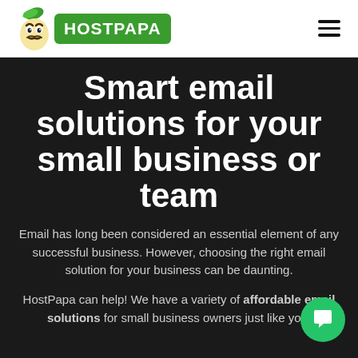HostPapa
Smart email solutions for your small business or team
Email has long been considered an essential element of any successful business. However, choosing the right email solution for your business can be daunting.
HostPapa can help! We have a variety of affordable email solutions for small business owners just like you.